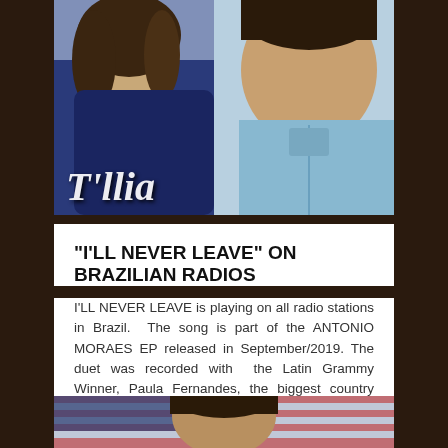[Figure (photo): Top portion showing two young people — a girl with curly hair wearing a dark denim jacket on the left, and a boy in a light blue denim shirt on the right, with partial text overlay at bottom reading in stylized cursive]
“I’LL NEVER LEAVE” ON BRAZILIAN RADIOS
I’LL NEVER LEAVE is playing on all radio stations in Brazil. The song is part of the ANTONIO MORAES EP released in September/2019. The duet was recorded with the Latin Grammy Winner, Paula Fernandes, the biggest country singer in Brazil. Antonio was already in…
[Figure (photo): Bottom partial image showing a person against a background with an American flag, cropped at the bottom of the page]